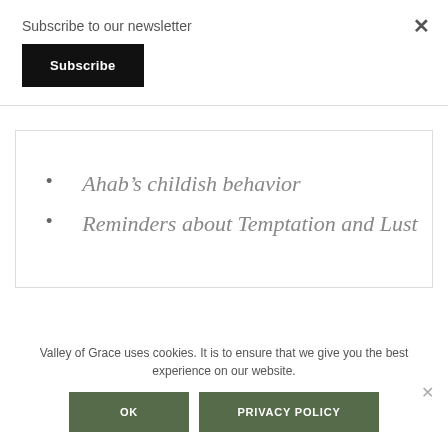Subscribe to our newsletter
Subscribe
×
Ahab's childish behavior
Reminders about Temptation and Lust
Valley of Grace uses cookies. It is to ensure that we give you the best experience on our website.
OK
PRIVACY POLICY
×